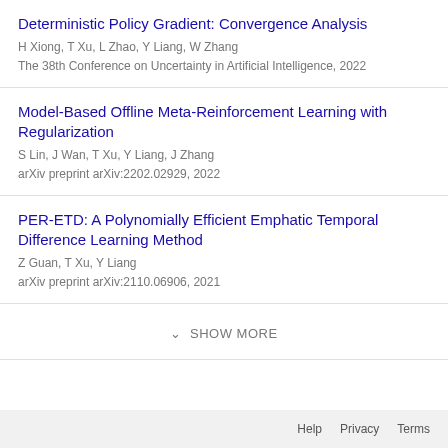Deterministic Policy Gradient: Convergence Analysis
H Xiong, T Xu, L Zhao, Y Liang, W Zhang
The 38th Conference on Uncertainty in Artificial Intelligence, 2022
Model-Based Offline Meta-Reinforcement Learning with Regularization
S Lin, J Wan, T Xu, Y Liang, J Zhang
arXiv preprint arXiv:2202.02929, 2022
PER-ETD: A Polynomially Efficient Emphatic Temporal Difference Learning Method
Z Guan, T Xu, Y Liang
arXiv preprint arXiv:2110.06906, 2021
SHOW MORE
Help  Privacy  Terms